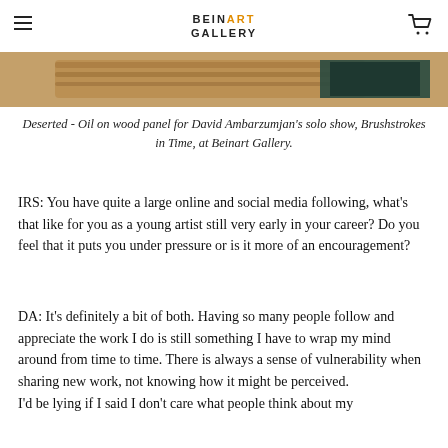BEINART GALLERY
[Figure (photo): Partial view of an artwork - Deserted, oil on wood panel, showing a textured brown and dark teal horizontal strip]
Deserted - Oil on wood panel for David Ambarzumjan's solo show, Brushstrokes in Time, at Beinart Gallery.
IRS: You have quite a large online and social media following, what's that like for you as a young artist still very early in your career? Do you feel that it puts you under pressure or is it more of an encouragement?
DA: It's definitely a bit of both. Having so many people follow and appreciate the work I do is still something I have to wrap my mind around from time to time. There is always a sense of vulnerability when sharing new work, not knowing how it might be perceived.
I'd be lying if I said I don't care what people think about my